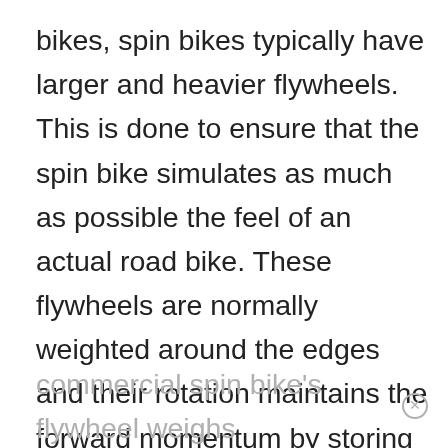bikes, spin bikes typically have larger and heavier flywheels. This is done to ensure that the spin bike simulates as much as possible the feel of an actual road bike. These flywheels are normally weighted around the edges and their rotation maintains the forward momentum by storing energy. The pedaling motion will be smoother if the flywheel is heavier. The majority of home-use spin bikes are fitted with flywheels ranging from 15 to 35 lbs. A
commercial spin bike's flywheel weighs approximately 50 lbs.